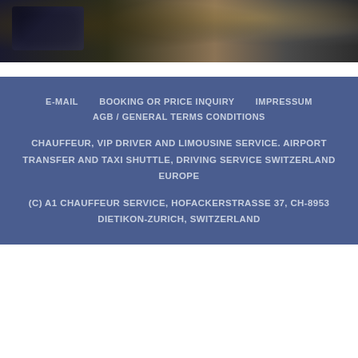[Figure (photo): Partial view of luxury vehicles, showing dark car interior/exterior with woven/textured surface, top portion cropped]
E-MAIL   BOOKING OR PRICE INQUIRY   IMPRESSUM
AGB / GENERAL TERMS CONDITIONS
CHAUFFEUR, VIP DRIVER AND LIMOUSINE SERVICE. AIRPORT TRANSFER AND TAXI SHUTTLE, DRIVING SERVICE SWITZERLAND EUROPE
(C) A1 CHAUFFEUR SERVICE, HOFACKERSTRASSE 37, CH-8953 DIETIKON-ZURICH, SWITZERLAND